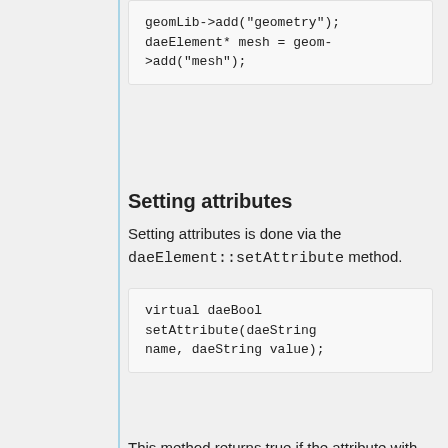Setting attributes
Setting attributes is done via the daeElement::setAttribute method.
This method returns true if the attribute with the given name was found and the value applied successfully, and false otherwise. You might use it like this.